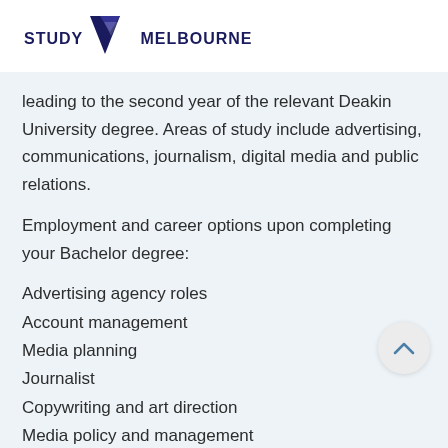[Figure (logo): Study Melbourne logo with dark navy triangle/chevron icon and bold text STUDY MELBOURNE]
leading to the second year of the relevant Deakin University degree. Areas of study include advertising, communications, journalism, digital media and public relations.
Employment and career options upon completing your Bachelor degree:
Advertising agency roles
Account management
Media planning
Journalist
Copywriting and art direction
Media policy and management